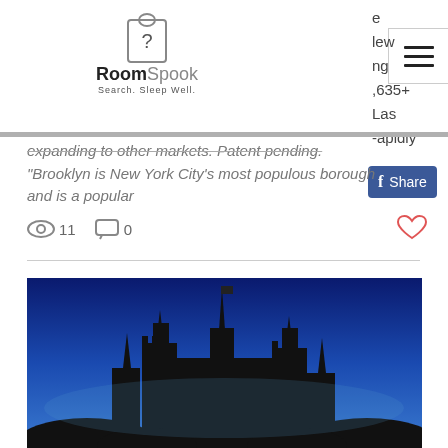[Figure (logo): RoomSpook logo with door hanger icon showing a question mark, text reads RoomSpook Search. Sleep Well.]
[Figure (screenshot): Hamburger menu button (three horizontal lines)]
e
lew
ng
,635+
Las
-apidly
[Figure (screenshot): Facebook Share button, blue with f icon and Share label]
expanding to other markets. Patent pending.
"Brooklyn is New York City's most populous borough and is a popular
11  0
[Figure (photo): Silhouette of a castle (resembling Disneyland/Disney castle) against a deep blue sky at dusk]